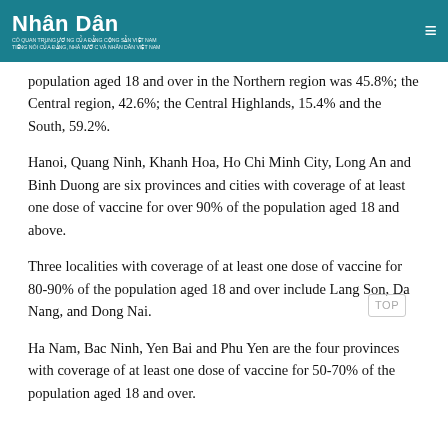Nhân Dân
population aged 18 and over in the Northern region was 45.8%; the Central region, 42.6%; the Central Highlands, 15.4% and the South, 59.2%.
Hanoi, Quang Ninh, Khanh Hoa, Ho Chi Minh City, Long An and Binh Duong are six provinces and cities with coverage of at least one dose of vaccine for over 90% of the population aged 18 and above.
Three localities with coverage of at least one dose of vaccine for 80-90% of the population aged 18 and over include Lang Son, Da Nang, and Dong Nai.
Ha Nam, Bac Ninh, Yen Bai and Phu Yen are the four provinces with coverage of at least one dose of vaccine for 50-70% of the population aged 18 and over.